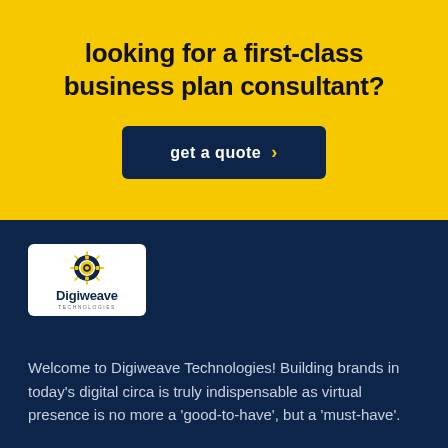looking for a first-class business plan consultant?
get a quote >
[Figure (logo): Digiweave Technologies logo — sun/gear icon above the word Digiweave with tagline text]
Welcome to Digiweave Technologies! Building brands in today's digital circa is truly indispensable as virtual presence is no more a 'good-to-have', but a 'must-have'.